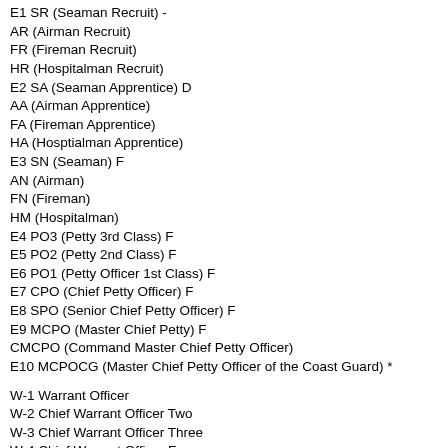E1 SR (Seaman Recruit) -
AR (Airman Recruit)
FR (Fireman Recruit)
HR (Hospitalman Recruit)
E2 SA (Seaman Apprentice) D
AA (Airman Apprentice)
FA (Fireman Apprentice)
HA (Hosptialman Apprentice)
E3 SN (Seaman) F
AN (Airman)
FN (Fireman)
HM (Hospitalman)
E4 PO3 (Petty 3rd Class) F
E5 PO2 (Petty 2nd Class) F
E6 PO1 (Petty Officer 1st Class) F
E7 CPO (Chief Petty Officer) F
E8 SPO (Senior Chief Petty Officer) F
E9 MCPO (Master Chief Petty) F
CMCPO (Command Master Chief Petty Officer)
E10 MCPOCG (Master Chief Petty Officer of the Coast Guard) *
W-1 Warrant Officer
W-2 Chief Warrant Officer Two
W-3 Chief Warrant Officer Three
W-4 Chief Warrant Officer Four
W-5 Chief Warrant Officer Five
O-1 ENS (Ensign) -
O-2 LTJG (Lieutenant, Junior Grade) D
O-3 LT (Lieutenant) D
O-4 LCDR (Lieutenant Commander) D